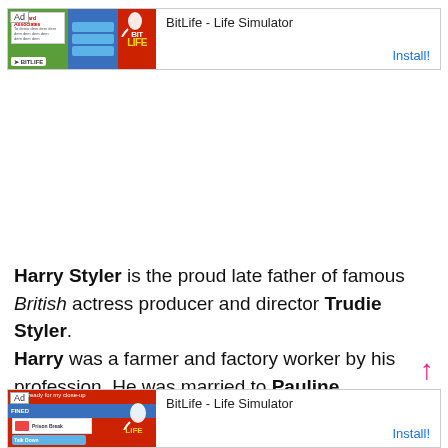[Figure (screenshot): Ad banner for BitLife - Life Simulator app with 'Ad' label, colorful game screenshots, app name and Install! link]
Harry Styler is the proud late father of famous British actress producer and director Trudie Styler.
Harry was a farmer and factory worker by his profession. He was married to Pauline.
[Figure (screenshot): Ad banner for BitLife - Life Simulator app with 'Ad' label, colorful game screenshots, app name and Install! link]